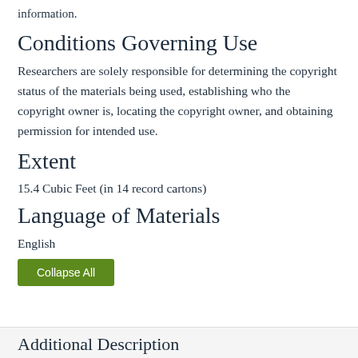information.
Conditions Governing Use
Researchers are solely responsible for determining the copyright status of the materials being used, establishing who the copyright owner is, locating the copyright owner, and obtaining permission for intended use.
Extent
15.4 Cubic Feet (in 14 record cartons)
Language of Materials
English
Collapse All
Additional Description